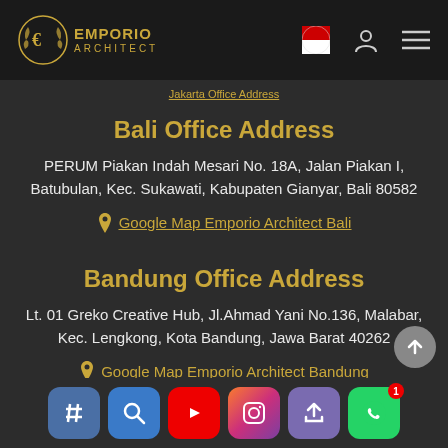[Figure (logo): Emporio Architect logo with golden laurel wreath circle and text]
Bali Office Address
PERUM Piakan Indah Mesari No. 18A, Jalan Piakan I, Batubulan, Kec. Sukawati, Kabupaten Gianyar, Bali 80582
Google Map Emporio Architect Bali
Bandung Office Address
Lt. 01 Greko Creative Hub, Jl.Ahmad Yani No.136, Malabar, Kec. Lengkong, Kota Bandung, Jawa Barat 40262
Google Map Emporio Architect Bandung
[Figure (screenshot): Bottom social media icon bar with hashtag, search, YouTube, Instagram, share, and WhatsApp buttons]